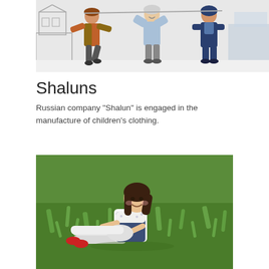[Figure (photo): Three children wearing winter/outdoor clothing (jackets, snow suits) in an illustrated outdoor scene with cartoon-style buildings in the background. The leftmost child wears an orange-brown jacket, the middle child wears a light blue jacket, and the right child wears a dark blue snowsuit.]
Shaluns
Russian company "Shalun" is engaged in the manufacture of children's clothing.
[Figure (photo): A young girl with long dark hair sitting on green grass, wearing a white floral dress with a dark blue pinafore/apron and white tights with red shoes. She is smiling and appears to be in a garden or park setting.]